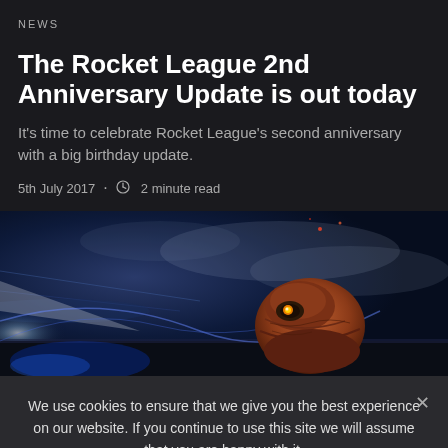NEWS
The Rocket League 2nd Anniversary Update is out today
It's time to celebrate Rocket League's second anniversary with a big birthday update.
5th July 2017 · 2 minute read
[Figure (screenshot): Screenshot from Rocket League game showing a rocket-powered car in an arena stadium with atmospheric lighting and blue energy effects]
We use cookies to ensure that we give you the best experience on our website. If you continue to use this site we will assume that you are happy with it.